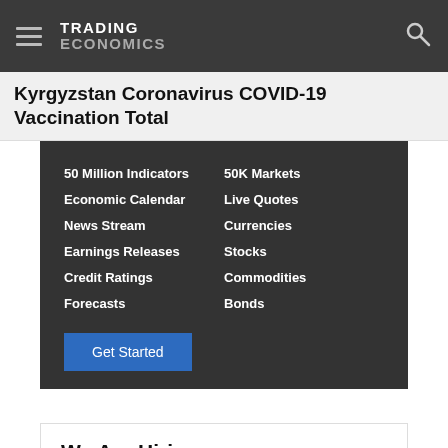TRADING ECONOMICS
Kyrgyzstan Coronavirus COVID-19 Vaccination Total
50 Million Indicators | Economic Calendar | News Stream | Earnings Releases | Credit Ratings | Forecasts | 50K Markets | Live Quotes | Currencies | Stocks | Commodities | Bonds | Get Started
We Are Hiring
Trading Economics welcomes candidates from